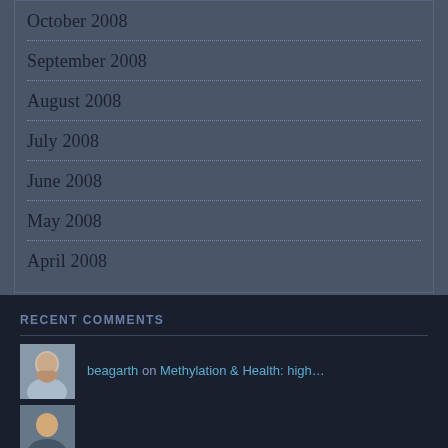October 2008
September 2008
August 2008
July 2008
June 2008
May 2008
April 2008
RECENT COMMENTS
beagarth on Methylation & Health: high…
(second comment entry, partially visible)